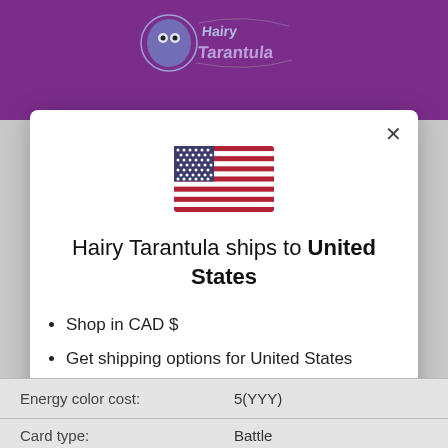[Figure (screenshot): Purple header background with Hairy Tarantula logo and graffiti-style text]
[Figure (illustration): US flag icon centered in modal]
Hairy Tarantula ships to United States
Shop in CAD $
Get shipping options for United States
Shop now
Change shipping country
| Energy color cost: | 5(YYY) |
| Card type: | Battle |